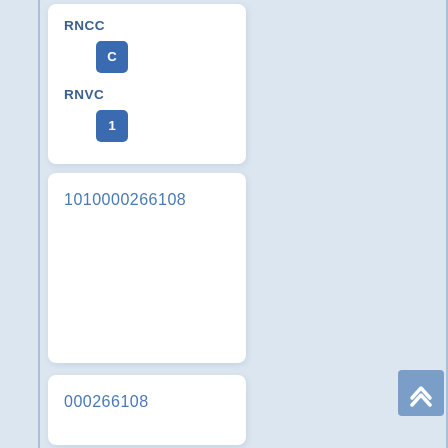RNCC
C
RNVC
1
1010000266108
000266108